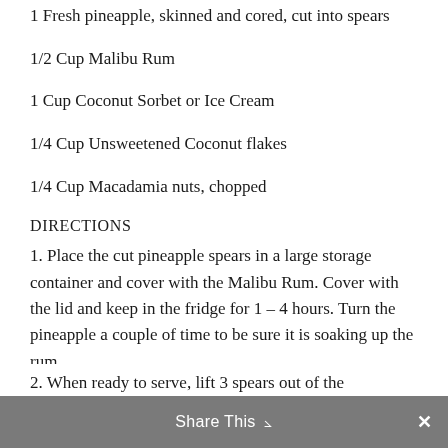1 Fresh pineapple, skinned and cored, cut into spears
1/2 Cup Malibu Rum
1 Cup Coconut Sorbet or Ice Cream
1/4 Cup Unsweetened Coconut flakes
1/4 Cup Macadamia nuts, chopped
DIRECTIONS
1. Place the cut pineapple spears in a large storage container and cover with the Malibu Rum. Cover with the lid and keep in the fridge for 1 – 4 hours. Turn the pineapple a couple of time to be sure it is soaking up the rum.
2. When ready to serve, lift 3 spears out of the
Share This ∨  ✕